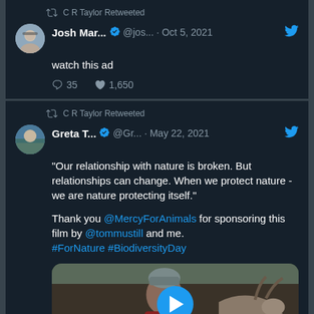C R Taylor Retweeted
Josh Mar... ✓ @jos... · Oct 5, 2021
watch this ad
35 comments · 1,650 likes
C R Taylor Retweeted
Greta T... ✓ @Gr... · May 22, 2021
"Our relationship with nature is broken. But relationships can change. When we protect nature - we are nature protecting itself."

Thank you @MercyForAnimals for sponsoring this film by @tommustill and me.
#ForNature #BiodiversityDay
[Figure (photo): Video thumbnail showing a person in a red jacket and grey knit hat with a goat/deer animal, set in a forested area. A blue circular play button is overlaid in the center.]